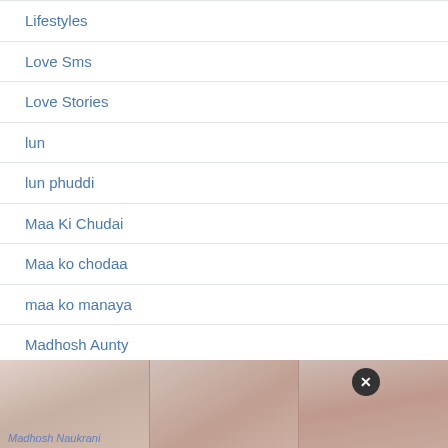Lifestyles
Love Sms
Love Stories
lun
lun phuddi
Maa Ki Chudai
Maa ko chodaa
maa ko manaya
Madhosh Aunty
Madhosh Bahan
Madhosh Bhabhi
Madhosh Girlfriend
[Figure (screenshot): Overlay image strip with adult content thumbnails and a close button (X) at the bottom of the page. A label 'Madhosh Naukrani' is partially visible at the bottom left.]